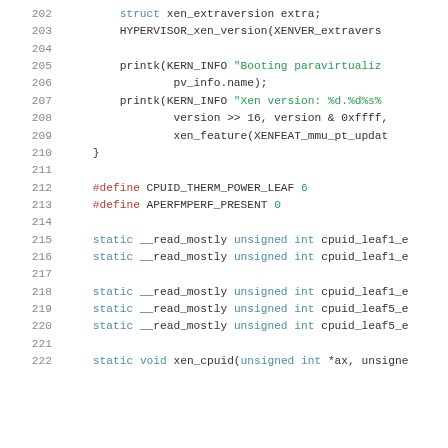202-222 source code listing showing xen paravirtualization and cpuid functions